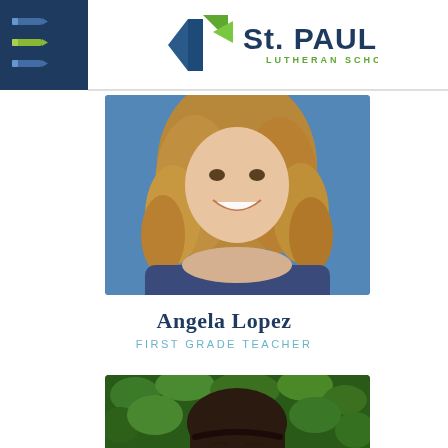[Figure (logo): St. Paul Lutheran School logo with blue and green geometric cross/arrow shapes and text]
[Figure (photo): Portrait photo of Angela Lopez, a woman with curly blonde hair, smiling against a blue background]
Angela Lopez
FIRST GRADE TEACHER
[Figure (photo): Portrait photo of a woman with dark hair against a green leafy background]